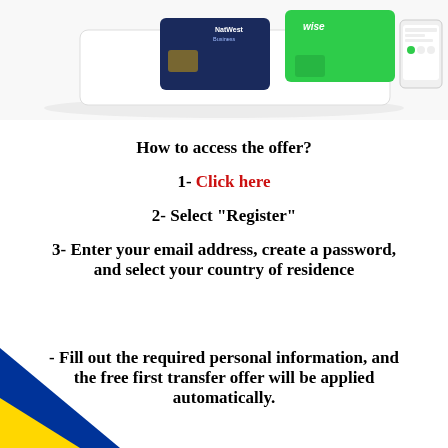[Figure (photo): Banner showing financial cards including a dark blue NatWest Business card and a green Wise card, with a phone screen visible on the right.]
How to access the offer?
1- Click here
2- Select "Register"
3- Enter your email address, create a password, and select your country of residence
- Fill out the required personal information, and the free first transfer offer will be applied automatically.
[Figure (illustration): Diagonal blue and yellow stripe decoration in the bottom-left corner of the page.]